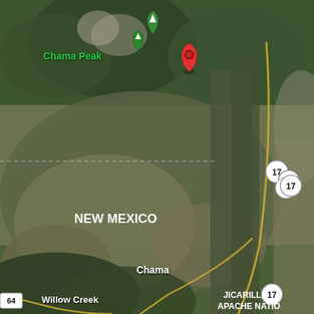[Figure (map): Satellite map view showing the New Mexico and Colorado border area near Chama Peak and Chama. Features include: a red location pin marker in the upper-center portion of the map, a green mountain marker labeled 'Chama Peak' in the upper left, road number 17 shown twice (upper right and center right), 'NEW MEXICO' state label in the center, 'Chama' town label near the bottom center, 'Willow Creek' label in the lower left, 'JICARILLA APACHE NATIO' text in the lower right, and highway 64 marker in the lower left corner. A yellow road (highway 17) curves through the right side of the map.]